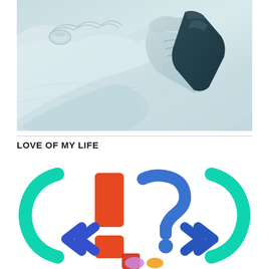[Figure (illustration): A monochromatic blue-tinted illustration of hands holding a dark rectangular object (tablet/book), with decorative sleeve cuff visible, rendered in a painterly style against a light blue-grey background.]
LOVE OF MY LIFE
[Figure (illustration): A colorful illustration featuring large stylized punctuation marks and question marks in teal, orange, blue, and other bright colors, with decorative bracket/quotation shapes surrounding them, on a white background.]